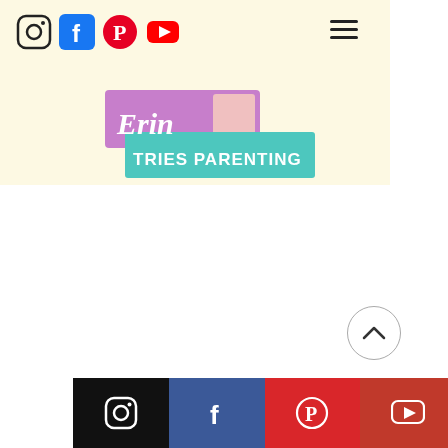[Figure (screenshot): Website header with cream/yellow background showing social media icons (Instagram, Facebook, Pinterest, YouTube) top left, hamburger menu icon top right, and 'Erin Tries Parenting' logo in center]
[Figure (logo): Erin Tries Parenting logo with purple cursive 'Erin' text and teal banner reading 'TRIES PARENTING']
[Figure (other): Back-to-top button: circle with upward chevron arrow]
[Figure (other): Footer bar with four social media icons: Instagram (black), Facebook (blue), Pinterest (red), YouTube (dark red)]